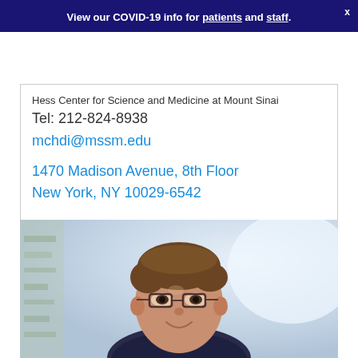View our COVID-19 info for patients and staff.
Hess Center for Science and Medicine at Mount Sinai
Tel: 212-824-8938
mchdi@mssm.edu
1470 Madison Avenue, 8th Floor
New York, NY 10029-6542
[Figure (photo): Professional headshot of a man with short brown hair wearing glasses and a dark jacket, smiling slightly, with a blurred light background.]